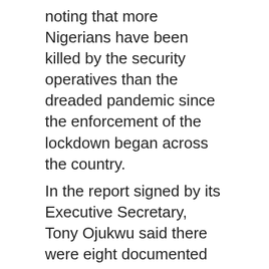noting that more Nigerians have been killed by the security operatives than the dreaded pandemic since the enforcement of the lockdown began across the country.
In the report signed by its Executive Secretary, Tony Ojukwu said there were eight documented incidents of extra-judicial killing leading to 18 deaths.
He said Out of this number, 12 deaths were recorded in Kaduna State. Abia State also recorded two deaths arising from two incidents; while Delta, Niger, Ebonyi and Katsina states recorded one death each.
Out of the 18 deaths, the National Human Rights Commission said the Nigeria Correctional Service was responsible for eight deaths while it blamed